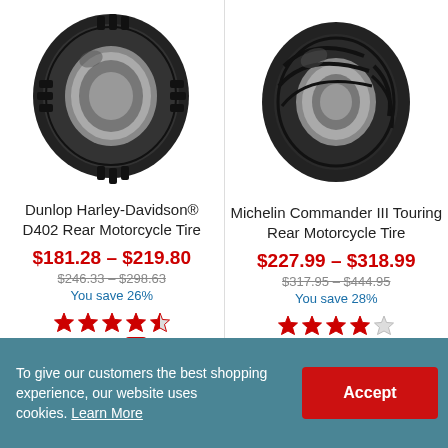[Figure (photo): Dunlop Harley-Davidson D402 Rear Motorcycle Tire product image - black tire viewed from slight angle]
Dunlop Harley-Davidson® D402 Rear Motorcycle Tire
$181.28 – $219.80
$246.33 – $298.63
You save 26%
[Figure (photo): Michelin Commander III Touring Rear Motorcycle Tire product image - black tire with tread pattern viewed from slight angle]
Michelin Commander III Touring Rear Motorcycle Tire
$227.99 – $318.99
$317.95 – $444.95
You save 28%
VIDEO
To give our customers the best shopping experience, our website uses cookies. Learn More
Accept